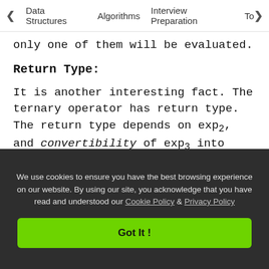< Data Structures   Algorithms   Interview Preparation   To>
only one of them will be evaluated.
Return Type:
It is another interesting fact. The ternary operator has return type. The return type depends on exp2, and convertibility of exp3 into exp2 as per usual\overloaded conversion rules. If they are not convertible, the compiler throws an error. See the examples below,
The following program compiles without any
We use cookies to ensure you have the best browsing experience on our website. By using our site, you acknowledge that you have read and understood our Cookie Policy & Privacy Policy
Got It !